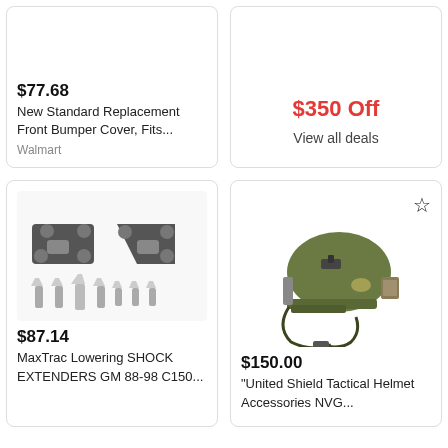[Figure (screenshot): Product card: $77.68 New Standard Replacement Front Bumper Cover, Fits... from Walmart]
$77.68
New Standard Replacement Front Bumper Cover, Fits...
Walmart
[Figure (screenshot): Deal card: $350 Off, View all deals]
$350 Off
View all deals
[Figure (photo): Product card: $87.14 MaxTrac Lowering SHOCK EXTENDERS GM 88-98 C150... with image of mounting brackets and bolts]
$87.14
MaxTrac Lowering SHOCK EXTENDERS GM 88-98 C150...
[Figure (photo): Product card: $150.00 "United Shield Tactical Helmet Accessories NVG... with image of green tactical helmet with star bookmark icon]
$150.00
"United Shield Tactical Helmet Accessories NVG...